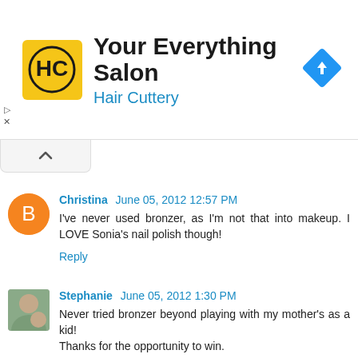[Figure (other): Hair Cuttery advertisement banner with logo, title 'Your Everything Salon', subtitle 'Hair Cuttery', and a blue navigation diamond icon]
Christina June 05, 2012 12:57 PM
I've never used bronzer, as I'm not that into makeup. I LOVE Sonia's nail polish though!
Reply
Stephanie June 05, 2012 1:30 PM
Never tried bronzer beyond playing with my mother's as a kid!
Thanks for the opportunity to win.
Reply
Tina June 05, 2012 1:38 PM